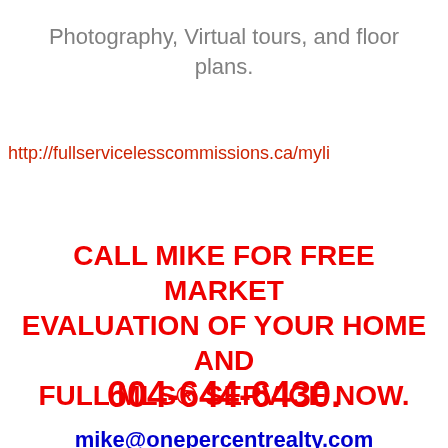Photography, Virtual tours, and floor plans.
http://fullservicelesscommissions.ca/myli
CALL MIKE FOR FREE MARKET EVALUATION OF YOUR HOME AND FULL MLS® SERVICE NOW.
604-644-6430.
mike@onepercentrealty.com